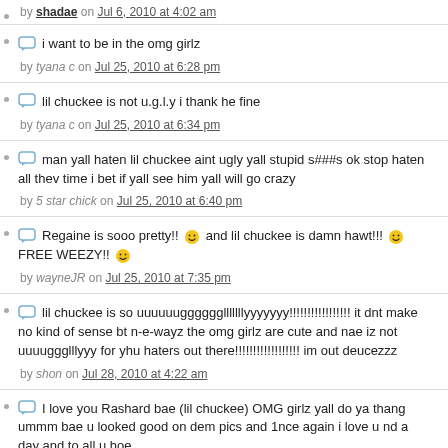by shadae on Jul 6, 2010 at 4:02 am
i want to be in the omg girlz
by tyana c on Jul 25, 2010 at 6:28 pm
lil chuckee is not u.g.l.y i thank he fine
by tyana c on Jul 25, 2010 at 6:34 pm
man yall haten lil chuckee aint ugly yall stupid s###s ok stop haten all thev time i bet if yall see him yall will go crazy
by 5 star chick on Jul 25, 2010 at 6:40 pm
Regaine is sooo pretty!! 🙂 and lil chuckee is damn hawt!!! 🙂 FREE WEEZY!! 🙂
by wayneJR on Jul 25, 2010 at 7:35 pm
lil chuckee is so uuuuuugggggglllllllyyyyyyy!!!!!!!!!!!!!!!!! it dnt make no kind of sense bt n-e-wayz the omg girlz are cute and nae iz not uuuuggglllyyy for yhu haters out there!!!!!!!!!!!!!!!!!! im out deucezzz
by shon on Jul 28, 2010 at 4:22 am
I love you Rashard bae (lil chuckee) OMG girlz yall do ya thang ummm bae u looked good on dem pics and 1nce again i love u nd a day and to all u hoe...